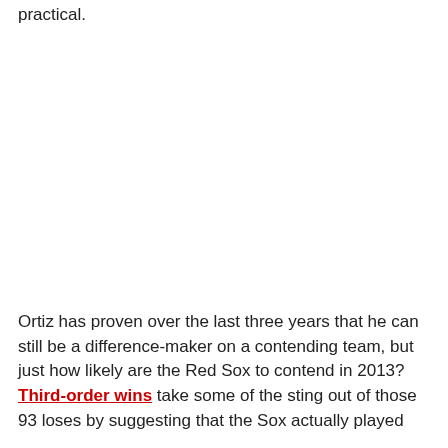practical.
Ortiz has proven over the last three years that he can still be a difference-maker on a contending team, but just how likely are the Red Sox to contend in 2013? Third-order wins take some of the sting out of those 93 loses by suggesting that the Sox actually played